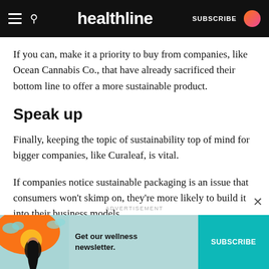healthline — SUBSCRIBE
If you can, make it a priority to buy from companies, like Ocean Cannabis Co., that have already sacrificed their bottom line to offer a more sustainable product.
Speak up
Finally, keeping the topic of sustainability top of mind for bigger companies, like Curaleaf, is vital.
If companies notice sustainable packaging is an issue that consumers won't skimp on, they're more likely to build it into their business models.
[Figure (infographic): Advertisement banner for Healthline wellness newsletter with an illustrated woman and subscription button. Text reads: Get our wellness newsletter. SUBSCRIBE button.]